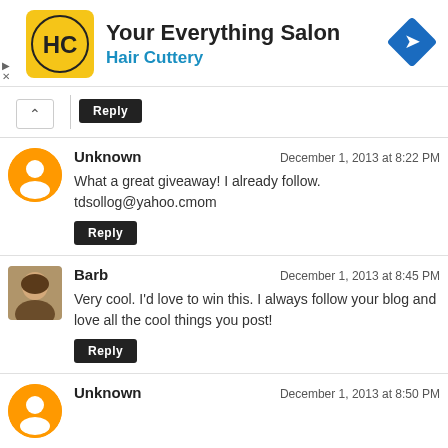[Figure (logo): Hair Cuttery ad banner with logo showing HC letters, text 'Your Everything Salon' and 'Hair Cuttery', and a blue direction arrow icon]
Reply
Unknown
December 1, 2013 at 8:22 PM
What a great giveaway! I already follow. tdsollog@yahoo.cmom
Reply
Barb
December 1, 2013 at 8:45 PM
Very cool. I'd love to win this. I always follow your blog and love all the cool things you post!
Reply
Unknown
December 1, 2013 at 8:50 PM